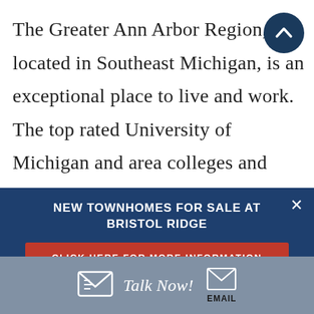The Greater Ann Arbor Region, located in Southeast Michigan, is an exceptional place to live and work.  The top rated University of Michigan and area colleges and technical schools provide important resources to the region and a supply of
[Figure (other): Dark blue circular scroll-to-top button with white upward arrow icon, positioned top-right corner]
[Figure (infographic): Dark navy blue advertisement banner overlay reading 'NEW TOWNHOMES FOR SALE AT BRISTOL RIDGE' with a red 'CLICK HERE FOR MORE INFORMATION' button and an X close button]
[Figure (infographic): Steel blue footer bar with envelope icon on left, italic 'Talk Now!' text in white, and email envelope icon with 'EMAIL' label on right]